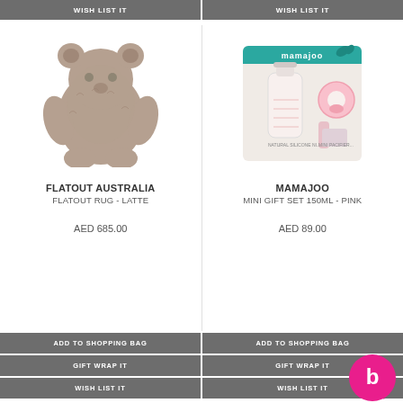WISH LIST IT | WISH LIST IT
[Figure (photo): Flatout Australia bear-shaped sheepskin rug in latte color]
[Figure (photo): Mamajoo mini gift set 150ml in pink packaging with baby bottle and pacifier]
FLATOUT AUSTRALIA
FLATOUT RUG - LATTE
MAMAJOO
MINI GIFT SET 150ML - PINK
AED 685.00
AED 89.00
ADD TO SHOPPING BAG | ADD TO SHOPPING BAG
GIFT WRAP IT | GIFT WRAP IT
WISH LIST IT | WISH LIST IT
[Figure (logo): Pink circular chat bubble logo with letter b]